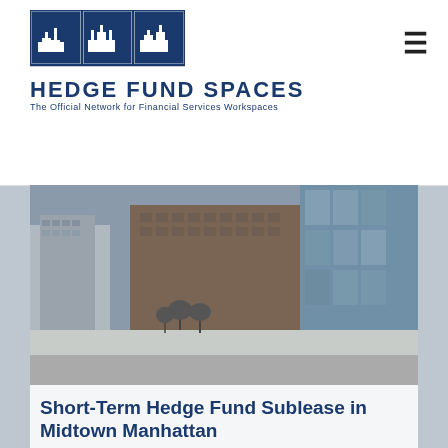[Figure (logo): Hedge Fund Spaces logo with NYC skyline icon and text 'HEDGE FUND SPACES - The Official Network for Financial Services Workspaces']
[Figure (photo): Aerial view of Midtown Manhattan winter cityscape with snow-covered ground, buildings, and Central Park trees visible]
Short-Term Hedge Fund Sublease in Midtown Manhattan
Furnished Plug & Play Office Space in The Plaza District  with Central Park Views Carnegie Hall Tower is one of Manhattan's most prestigious boutique office buildings.  Located at...